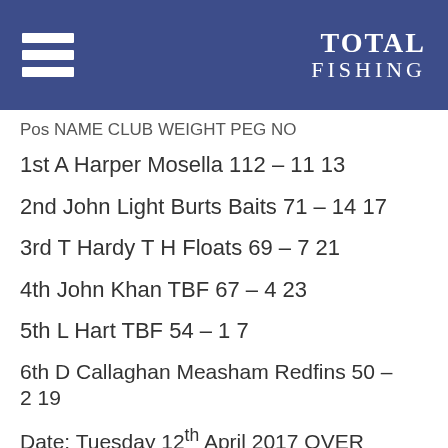TOTAL FISHING
Pos NAME CLUB WEIGHT PEG NO
1st A Harper Mosella 112 – 11 13
2nd John Light Burts Baits 71 – 14 17
3rd T Hardy T H Floats 69 – 7 21
4th John Khan TBF 67 – 4 23
5th L Hart TBF 54 – 1 7
6th D Callaghan Measham Redfins 50 – 2 19
Date: Tuesday 12th April 2017 OVER 50'S MATCH
Pools: JENNY'S / CANAL
No F/Man: 36
Pos NAME TEAM WEIGHT PEG NO